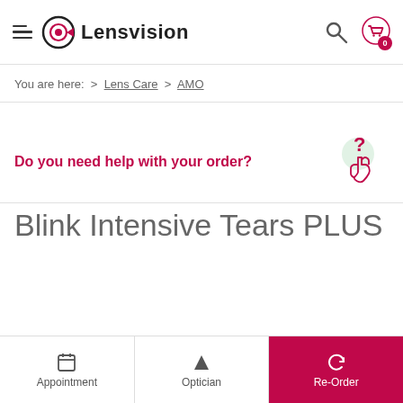Lensvision
You are here: > Lens Care > AMO
Do you need help with your order?
Blink Intensive Tears PLUS
Appointment | Optician | Re-Order